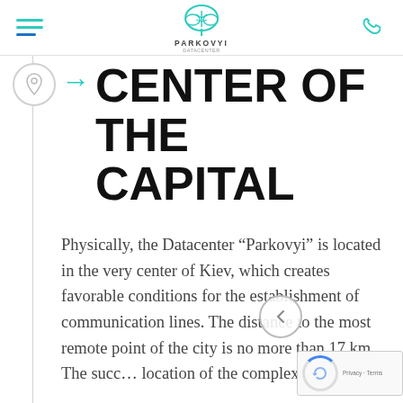PARKOVYI - Navigation header with hamburger menu, Parkovyi logo, and phone icon
CENTER OF THE CAPITAL
Physically, the Datacenter “Parkovyi” is located in the very center of Kiev, which creates favorable conditions for the establishment of communication lines. The distance to the most remote point of the city is no more than 17 km. The successful location of the complex will allow...